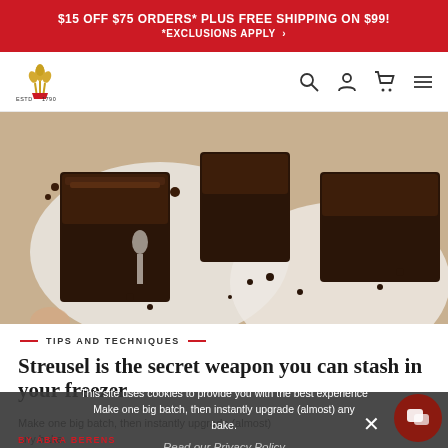$15 OFF $75 ORDERS* PLUS FREE SHIPPING ON $99! *EXCLUSIONS APPLY >
[Figure (logo): King Arthur Baking Company logo - wheat crown icon with ESTD 1790 text]
[Figure (photo): Overhead photo of chocolate streusel cake pieces on white plates with crumbs scattered around]
TIPS AND TECHNIQUES
Streusel is the secret weapon you can stash in your freezer
Make one big batch, then instantly upgrade (almost) any bake.
BY ABRA BERENS
This site uses cookies to provide you with the best experience possible. Read our Privacy Policy